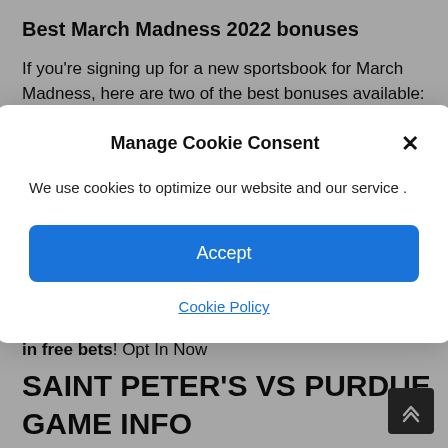Best March Madness 2022 bonuses
If you're signing up for a new sportsbook for March Madness, here are two of the best bonuses available:
[Figure (screenshot): Cookie consent modal overlay with title 'Manage Cookie Consent', body text 'We use cookies to optimize our website and our service .', an Accept button, and a Cookie Policy link]
in free bets! Opt In Now
SAINT PETER'S VS PURDUE GAME INFO